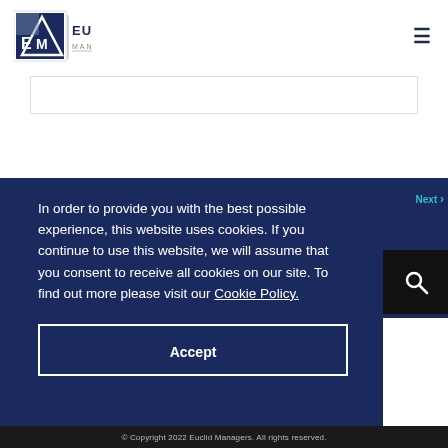[Figure (logo): Euclid Managers logo with EM monogram and text 'EUCLID MANAGERS']
In order to provide you with the best possible experience, this website uses cookies. If you continue to use this website, we will assume that you consent to receive all cookies on our site. To find out more please visit our Cookie Policy.
Accept
© Copyright 2022 Euclid Managers. All rights reserved.